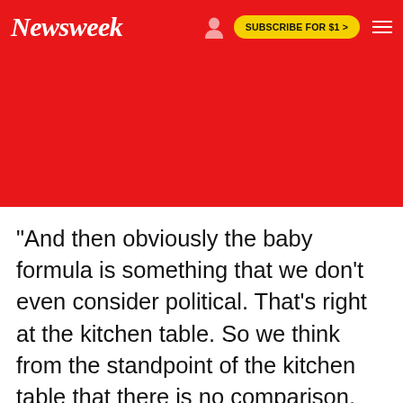Newsweek | SUBSCRIBE FOR $1 >
[Figure (other): Red advertisement/banner area below the Newsweek navigation header]
"And then obviously the baby formula is something that we don't even consider political. That's right at the kitchen table. So we think from the standpoint of the kitchen table that there is no comparison. They don't even